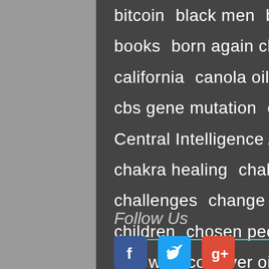bitcoin  black men  blame  body of light
books  born again christian  business
california  canola oil  case law  cats
cbs gene mutation  cell phones
Central Intelligence Agency  chabad
chakra healing  challah bread
challenges  change  chaos  chemtrails
children  chosen people  christmas
civil war  cod liver oil  colloidal metals
colon hydrotherapy  communication
compassion  complainers  computer
computers
Follow Us
[Figure (other): Social media icons: Facebook, Twitter, Google+, and a circular more/options button]